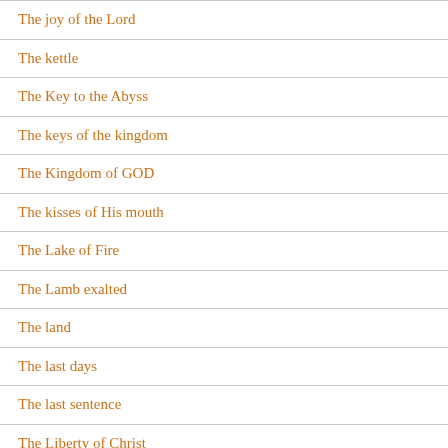The joy of the Lord
The kettle
The Key to the Abyss
The keys of the kingdom
The Kingdom of GOD
The kisses of His mouth
The Lake of Fire
The Lamb exalted
The land
The last days
The last sentence
The Liberty of Christ
The life of…